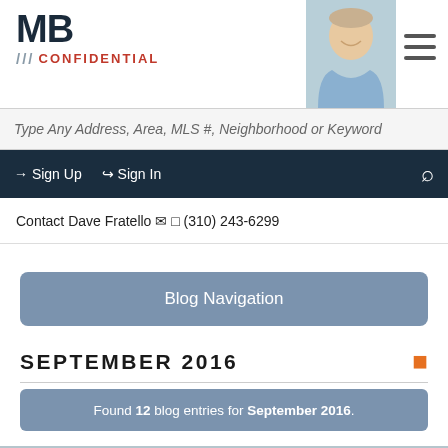MB CONFIDENTIAL
Type Any Address, Area, MLS #, Neighborhood or Keyword
Sign Up  Sign In
Contact Dave Fratello  (310) 243-6299
Blog Navigation
SEPTEMBER 2016
Found 12 blog entries for September 2016.
[Figure (photo): Outdoor scene with trees and utility pole against a blue sky]